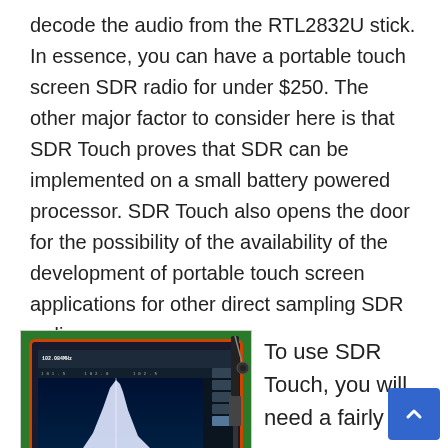decode the audio from the RTL2832U stick. In essence, you can have a portable touch screen SDR radio for under $250. The other major factor to consider here is that SDR Touch proves that SDR can be implemented on a small battery powered processor. SDR Touch also opens the door for the possibility of the availability of the development of portable touch screen applications for other direct sampling SDR radios.
[Figure (photo): A tablet running SDR Touch application showing spectrum analyzer display at 102.084MHz, with an RTL2832U USB dongle and antenna connected, placed on a green surface.]
To use SDR Touch, you will need a fairly